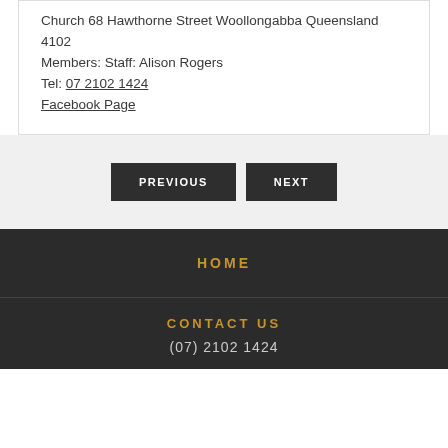Church 68 Hawthorne Street Woollongabba Queensland 4102

Members: Staff: Alison Rogers

Tel: 07 2102 1424

Facebook Page
PREVIOUS  NEXT
HOME
CONTACT US
(07) 2102 1424